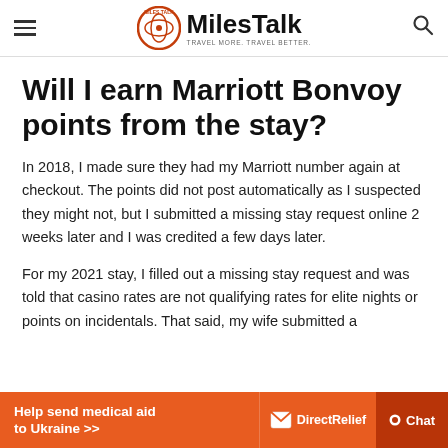MilesTalk — TRAVEL MORE. TRAVEL BETTER.
Will I earn Marriott Bonvoy points from the stay?
In 2018, I made sure they had my Marriott number again at checkout. The points did not post automatically as I suspected they might not, but I submitted a missing stay request online 2 weeks later and I was credited a few days later.
For my 2021 stay, I filled out a missing stay request and was told that casino rates are not qualifying rates for elite nights or points on incidentals. That said, my wife submitted a
[Figure (other): Advertisement banner: 'Help send medical aid to Ukraine >>' with Direct Relief logo and Chat button]